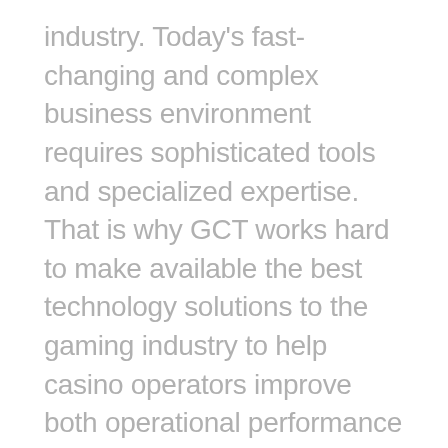industry. Today's fast-changing and complex business environment requires sophisticated tools and specialized expertise. That is why GCT works hard to make available the best technology solutions to the gaming industry to help casino operators improve both operational performance and customer experience. Through strong and well-proven partnerships, GCT brings operators the best technologies in the industry, which combined with GCT's own highly sought-after expertise, provides a winning and reliable solution for operators. The Speed of You partnership allows GCT to now offer technology solutions directly to the Tribes themselves for the benefit of Tribal members and future generations.